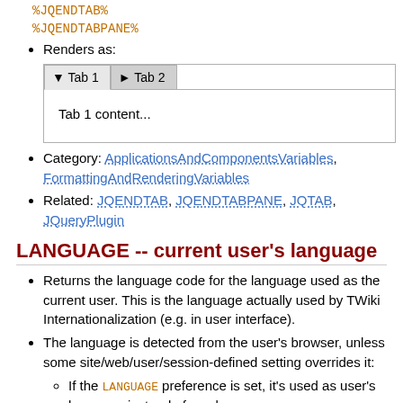%JQENDTAB%
%JQENDTABPANE%
Renders as:
[Figure (screenshot): Tab widget showing Tab 1 (active, with down triangle) and Tab 2 (inactive, with right triangle). Tab 1 content panel shows 'Tab 1 content...']
Category: ApplicationsAndComponentsVariables, FormattingAndRenderingVariables
Related: JQENDTAB, JQENDTABPANE, JQTAB, JQueryPlugin
LANGUAGE -- current user's language
Returns the language code for the language used as the current user. This is the language actually used by TWiki Internationalization (e.g. in user interface).
The language is detected from the user's browser, unless some site/web/user/session-defined setting overrides it:
If the LANGUAGE preference is set, it's used as user's language instead of any language